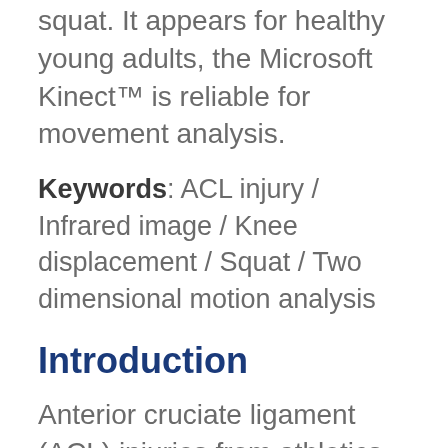squat. It appears for healthy young adults, the Microsoft Kinect™ is reliable for movement analysis.
Keywords: ACL injury / Infrared image / Knee displacement / Squat / Two dimensional motion analysis
Introduction
Anterior cruciate ligament (ACL) injuries from athletics